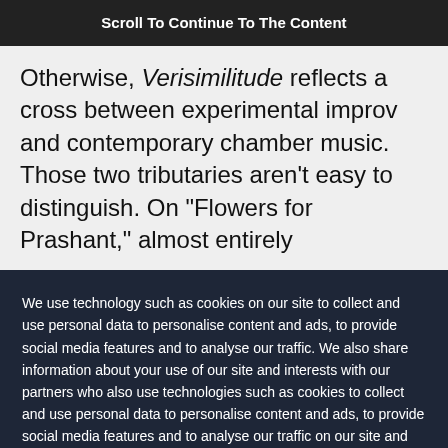Scroll To Continue To The Content
Otherwise, Verisimilitude reflects a cross between experimental improv and contemporary chamber music. Those two tributaries aren't easy to distinguish. On "Flowers for Prashant," almost entirely
We use technology such as cookies on our site to collect and use personal data to personalise content and ads, to provide social media features and to analyse our traffic. We also share information about your use of our site and interests with our partners who also use technologies such as cookies to collect and use personal data to personalise content and ads, to provide social media features and to analyse our traffic on our site and across the internet. You can always change your mind and revisit your choices.
Manage Options | I Accept